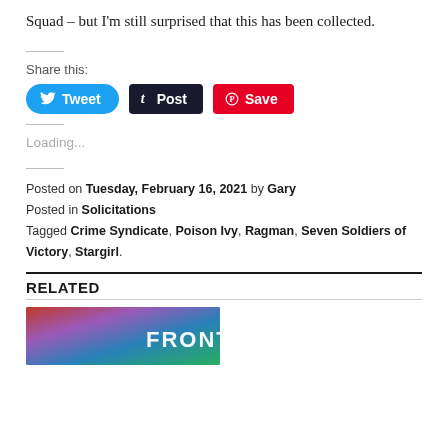Squad – but I'm still surprised that this has been collected.
Share this:
[Figure (other): Social share buttons: Tweet (Twitter), Post (Tumblr), Save (Pinterest)]
Loading...
Posted on Tuesday, February 16, 2021 by Gary
Posted in Solicitations
Tagged Crime Syndicate, Poison Ivy, Ragman, Seven Soldiers of Victory, Stargirl.
RELATED
[Figure (photo): Partially visible colorful comic book cover image with text 'FRONTIER' visible]